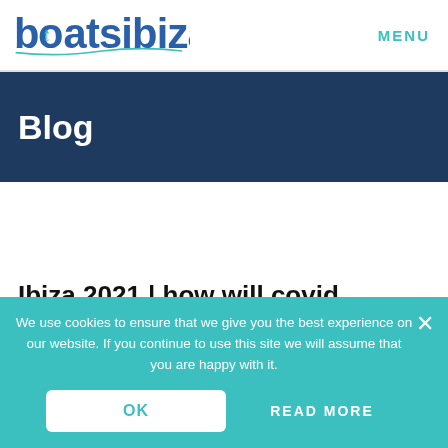boatsibiza | MENU
Blog
Ibiza 2021 | how will covid restrictions
We use cookies to ensure that we give you the best experience on our website. If you continue to use this site we will assume that you are happy with it.
OK
READ MORE